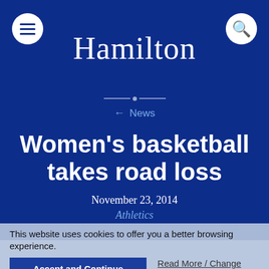Hamilton
← News
Women's basketball takes road loss
November 23, 2014
Athletics
This website uses cookies to offer you a better browsing experience.
Accept and Continue
Read More / Change Settings